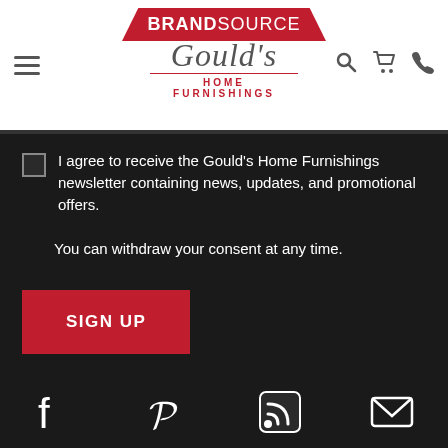[Figure (logo): BrandSource Gould's Home Furnishings logo with red house-shaped banner and cursive script]
I agree to receive the Gould's Home Furnishings newsletter containing news, updates, and promotional offers.
You can withdraw your consent at any time.
SIGN UP
[Figure (infographic): Social media icons row: Facebook, Pinterest, RSS feed, Email]